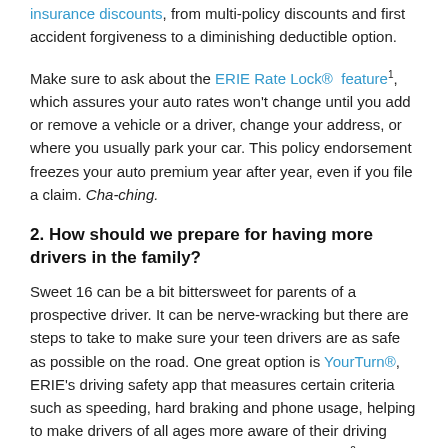insurance discounts, from multi-policy discounts and first accident forgiveness to a diminishing deductible option.
Make sure to ask about the ERIE Rate Lock® feature1, which assures your auto rates won't change until you add or remove a vehicle or a driver, change your address, or where you usually park your car. This policy endorsement freezes your auto premium year after year, even if you file a claim. Cha-ching.
2. How should we prepare for having more drivers in the family?
Sweet 16 can be a bit bittersweet for parents of a prospective driver. It can be nerve-wracking but there are steps to take to make sure your teen drivers are as safe as possible on the road. One great option is YourTurn®, ERIE's driving safety app that measures certain criteria such as speeding, hard braking and phone usage, helping to make drivers of all ages more aware of their driving behaviors and identifying areas for improvement2. ERIE